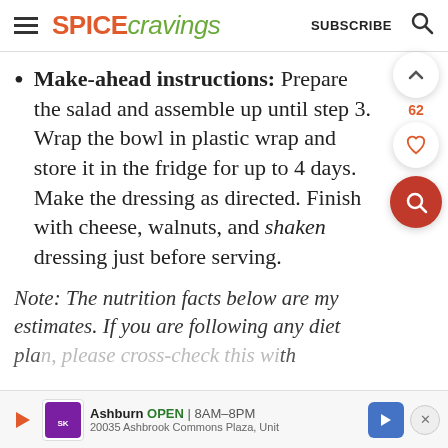SPICE cravings  SUBSCRIBE
Make-ahead instructions: Prepare the salad and assemble up until step 3. Wrap the bowl in plastic wrap and store it in the fridge for up to 4 days. Make the dressing as directed. Finish with cheese, walnuts, and shaken dressing just before serving.
Note: The nutrition facts below are my estimates. If you are following any diet plan, please cross-check this with your
Ashburn  OPEN | 8AM–8PM  20035 Ashbrook Commons Plaza, Unit